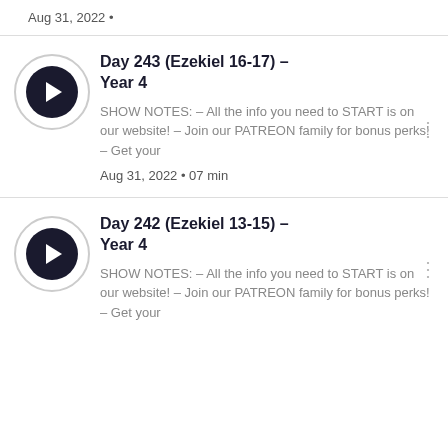Aug 31, 2022 •
Day 243 (Ezekiel 16-17) – Year 4
SHOW NOTES:  – All the info you need to START is on our website! – Join our PATREON family for bonus perks! – Get your
Aug 31, 2022 • 07 min
Day 242 (Ezekiel 13-15) – Year 4
SHOW NOTES:  – All the info you need to START is on our website! – Join our PATREON family for bonus perks! – Get your